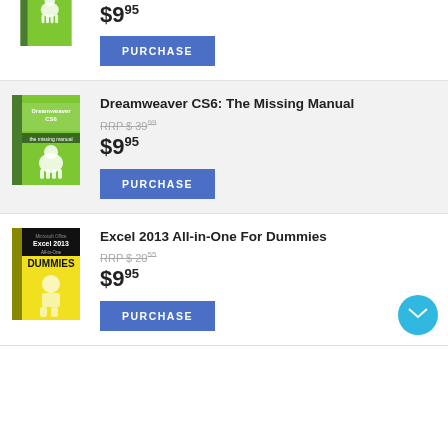[Figure (illustration): Partial green book cover (top cropped) - Missing Manual series book]
$9.95
PURCHASE
[Figure (illustration): Dreamweaver CS6: The Missing Manual green book cover]
Dreamweaver CS6: The Missing Manual
RRP $ 39.99
$9.95
PURCHASE
[Figure (illustration): Excel 2013 All-in-One For Dummies yellow and black book cover]
Excel 2013 All-in-One For Dummies
RRP $ 20.55
$9.95
PURCHASE